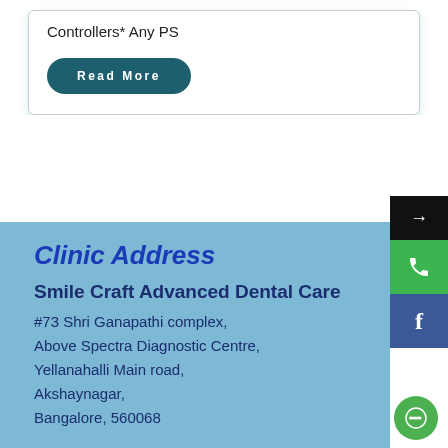Controllers* Any PS
Read More
Clinic Address
Smile Craft Advanced Dental Care
#73  Shri Ganapathi complex,
Above Spectra Diagnostic Centre,
Yellanahalli Main road,
Akshaynagar,
Bangalore, 560068